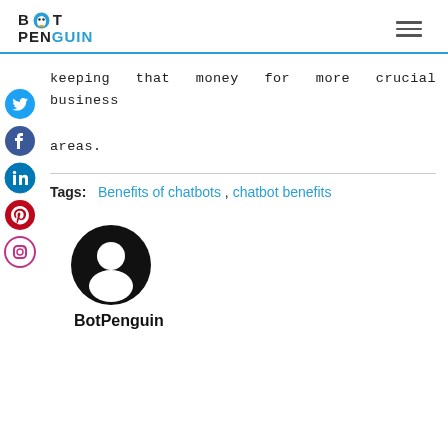BOT PENGUIN
keeping that money for more crucial business areas.
Tags: Benefits of chatbots , chatbot benefits
[Figure (illustration): Social media icons: Twitter, Facebook, LinkedIn, Pinterest, Instagram arranged vertically on left sidebar]
[Figure (photo): Author avatar: circular user silhouette icon in black]
BotPenguin